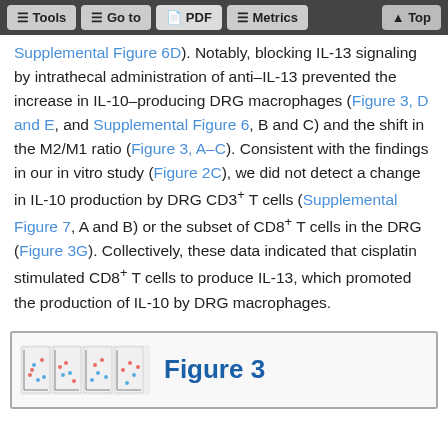Tools  Go to  PDF  Metrics  Top
Supplemental Figure 6D). Notably, blocking IL-13 signaling by intrathecal administration of anti–IL-13 prevented the increase in IL-10–producing DRG macrophages (Figure 3, D and E, and Supplemental Figure 6, B and C) and the shift in the M2/M1 ratio (Figure 3, A–C). Consistent with the findings in our in vitro study (Figure 2C), we did not detect a change in IL-10 production by DRG CD3+ T cells (Supplemental Figure 7, A and B) or the subset of CD8+ T cells in the DRG (Figure 3G). Collectively, these data indicated that cisplatin stimulated CD8+ T cells to produce IL-13, which promoted the production of IL-10 by DRG macrophages.
[Figure (other): Figure 3 thumbnail showing multiple small scientific panels/charts with scatter plots and bar graphs in red and blue colors]